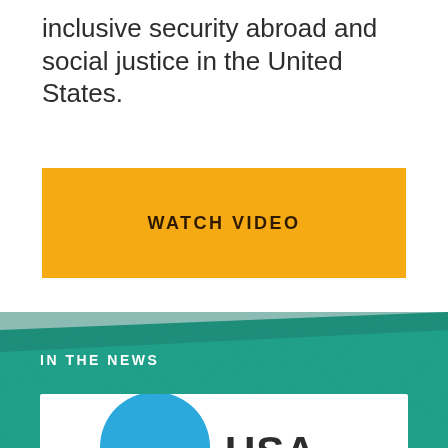inclusive security abroad and social justice in the United States.
WATCH VIDEO
IN THE NEWS
[Figure (other): News card with blue circle element and partial 'USA' or similar bold text, partially cropped at bottom of page]